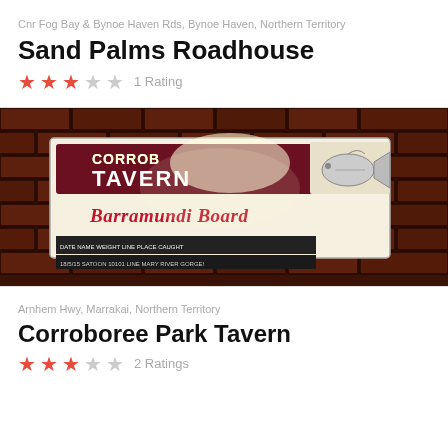Cnr Fog Bay & Bynoe Haven Rds, Bynoe Haven, Northern Territory
Sand Palms Roadhouse
★★★☆☆ 1 Rating
[Figure (photo): Photo of a Corroboree Park Tavern Barramundi Board sign on a brick wall background]
Arnhem Hwy, Marrakai, Northern Territory
Corroboree Park Tavern
★★★☆☆ 2 Ratings